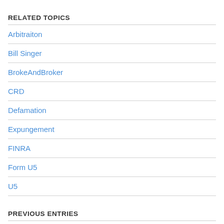RELATED TOPICS
Arbitraiton
Bill Singer
BrokeAndBroker
CRD
Defamation
Expungement
FINRA
Form U5
U5
PREVIOUS ENTRIES